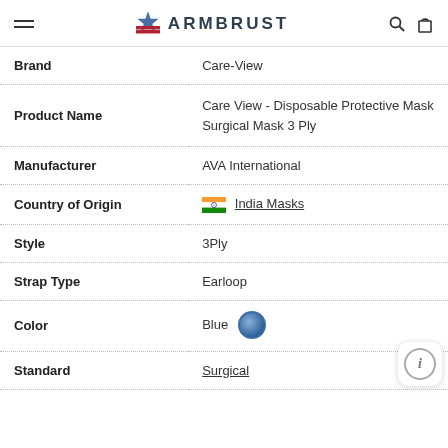ARMBRUST
| Field | Value |
| --- | --- |
| Brand | Care-View |
| Product Name | Care View - Disposable Protective Mask Surgical Mask 3 Ply |
| Manufacturer | AVA International |
| Country of Origin | India Masks |
| Style | 3Ply |
| Strap Type | Earloop |
| Color | Blue |
| Standard | Surgical |